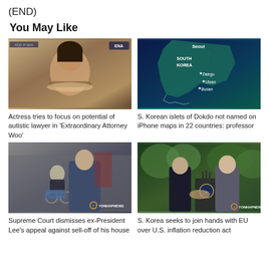(END)
You May Like
[Figure (photo): Actress holding food tray scene from Korean drama 'Extraordinary Attorney Woo', with ENA logo top right]
Actress tries to focus on potential of autistic lawyer in 'Extraordinary Attorney Woo'
[Figure (map): Map showing South Korea with cities Seoul, Daegu, Ulsan, Busan labeled]
S. Korean islets of Dokdo not named on iPhone maps in 22 countries: professor
[Figure (photo): Elderly man in wheelchair with YONHAP NEWS watermark]
Supreme Court dismisses ex-President Lee's appeal against sell-off of his house
[Figure (photo): Two men shaking hands at podium with presidential seal, YONHAP NEWS watermark]
S. Korea seeks to join hands with EU over U.S. inflation reduction act